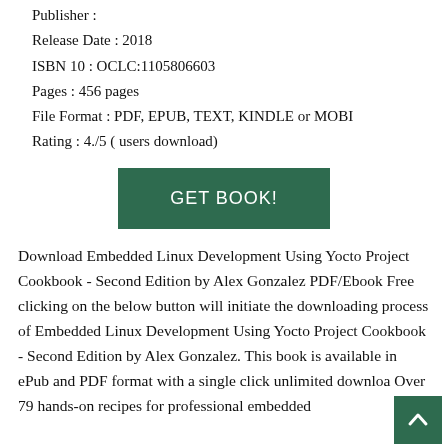Publisher :
Release Date : 2018
ISBN 10 : OCLC:1105806603
Pages : 456 pages
File Format : PDF, EPUB, TEXT, KINDLE or MOBI
Rating : 4./5 ( users download)
[Figure (other): GET BOOK! button in dark green]
Download Embedded Linux Development Using Yocto Project Cookbook - Second Edition by Alex Gonzalez PDF/Ebook Free clicking on the below button will initiate the downloading process of Embedded Linux Development Using Yocto Project Cookbook - Second Edition by Alex Gonzalez. This book is available in ePub and PDF format with a single click unlimited download. Over 79 hands-on recipes for professional embedded